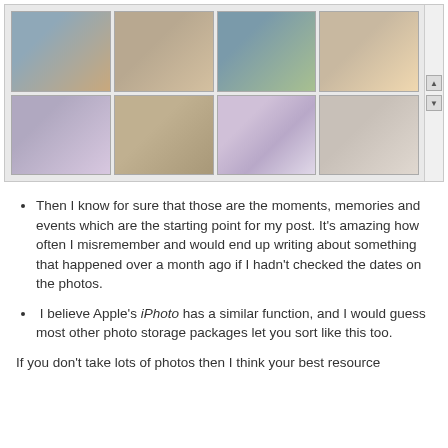[Figure (photo): A grid of 8 thumbnail photos showing various mini scrapbook albums and craft projects, arranged in 2 rows of 4, with a scrollbar on the right side.]
Then I know for sure that those are the moments, memories and events which are the starting point for my post. It's amazing how often I misremember and would end up writing about something that happened over a month ago if I hadn't checked the dates on the photos.
I believe Apple's iPhoto has a similar function, and I would guess most other photo storage packages let you sort like this too.
If you don't take lots of photos then I think your best resource